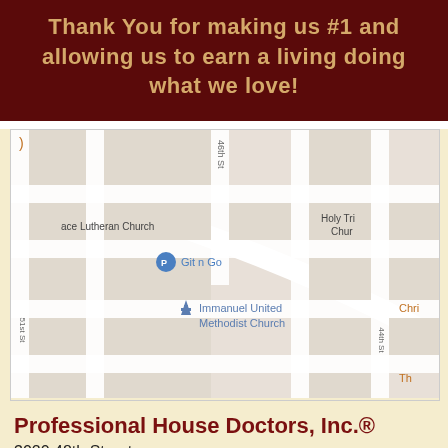Thank You for making us #1 and allowing us to earn a living doing what we love!
[Figure (map): Google Maps screenshot showing the area around 3020 48th Street, Des Moines, IA 50310. Visible landmarks include Grace Lutheran Church, Holy Trinity Church, Git n Go, Immanuel United Methodist Church. Street labels include 51st St, 46th St, 44th St.]
Professional House Doctors, Inc.®
3020 48th Street
Des Moines, IA 50310
(515) 278-1884